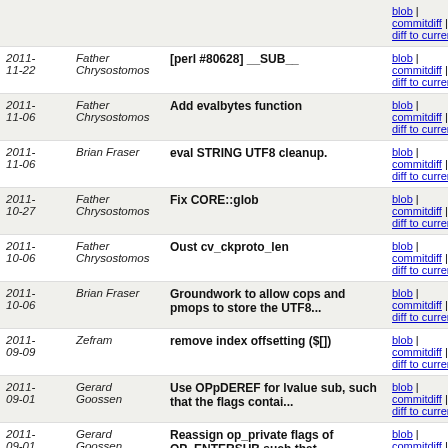| Date | Author | Message | Links |
| --- | --- | --- | --- |
| 2011-11-22 | Father Chrysostomos | [perl #80628] __SUB__ | blob | commitdiff | diff to current |
| 2011-11-06 | Father Chrysostomos | Add evalbytes function | blob | commitdiff | diff to current |
| 2011-11-06 | Brian Fraser | eval STRING UTF8 cleanup. | blob | commitdiff | diff to current |
| 2011-10-27 | Father Chrysostomos | Fix CORE::glob | blob | commitdiff | diff to current |
| 2011-10-06 | Father Chrysostomos | Oust cv_ckproto_len | blob | commitdiff | diff to current |
| 2011-10-06 | Brian Fraser | Groundwork to allow cops and pmops to store the UTF8... | blob | commitdiff | diff to current |
| 2011-09-09 | Zefram | remove index offsetting ($[]) | blob | commitdiff | diff to current |
| 2011-09-01 | Gerard Goossen | Use OPpDEREF for lvalue sub, such that the flags contai... | blob | commitdiff | diff to current |
| 2011-09-01 | Gerard Goossen | Reassign op_private flags of OP_ENTERSUB such that... | blob | commitdiff | diff to current |
| 2011-08-27 | Father Chrysostomos | Add OPpCOREARGS_SCALARMOD f... | blob | commitdiff | diff to current |